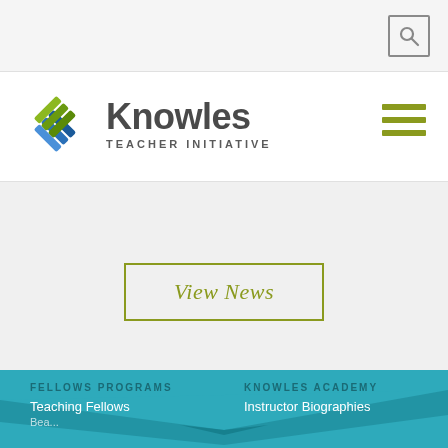[Figure (screenshot): Top navigation bar with search icon (magnifying glass) in a rounded square outline, on light gray background]
[Figure (logo): Knowles Teacher Initiative logo: colorful X-shaped mark in green, teal, and blue diagonal stripes, with 'Knowles' in large dark gray bold text and 'TEACHER INITIATIVE' in small caps tracking below. Hamburger menu icon (three horizontal olive-green lines) on the right.]
View News
[Figure (illustration): Teal geometric wave/triangular decorative banner transitioning into teal footer area with darker teal chevron shapes]
FELLOWS PROGRAMS
KNOWLES ACADEMY
Teaching Fellows
Instructor Biographies